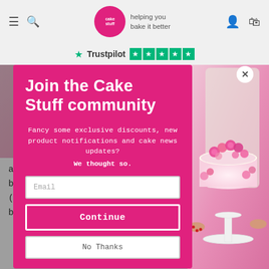Cake Stuff — helping you bake it better
[Figure (screenshot): Trustpilot rating bar with green stars]
[Figure (photo): Popup modal over a background photo of a pink flower-decorated cake on a white cake stand, held by a person]
Join the Cake Stuff community
Fancy some exclusive discounts, new product notifications and cake news updates?
We thought so.
Email
Continue
No Thanks
and 10kg trade blocks and are now supplying all bulk Regalice / Decor-Ice in 2.5kg sleeve packs (see pic 2) - this allows us to offer price breaks when buying 5kg or 10kg.